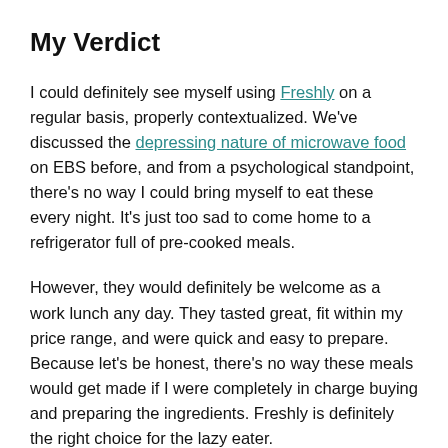My Verdict
I could definitely see myself using Freshly on a regular basis, properly contextualized. We've discussed the depressing nature of microwave food on EBS before, and from a psychological standpoint, there's no way I could bring myself to eat these every night. It's just too sad to come home to a refrigerator full of pre-cooked meals.
However, they would definitely be welcome as a work lunch any day. They tasted great, fit within my price range, and were quick and easy to prepare. Because let's be honest, there's no way these meals would get made if I were completely in charge buying and preparing the ingredients. Freshly is definitely the right choice for the lazy eater.